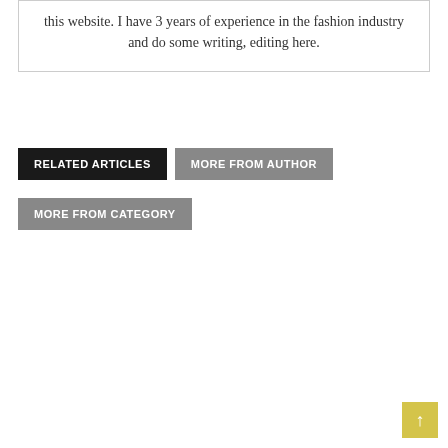this website. I have 3 years of experience in the fashion industry and do some writing, editing here.
RELATED ARTICLES  MORE FROM AUTHOR  MORE FROM CATEGORY